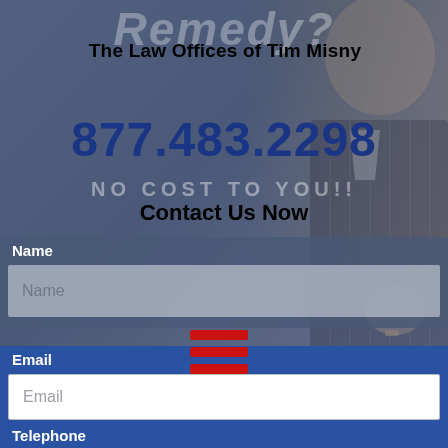[Figure (screenshot): Background image of attorney Tim Misny in a dark pinstripe suit, partially visible, overlaid with semi-transparent blue-gray tint]
The Law Offices of Tim Misny
877.483.2298
NO COST TO YOU!!
Contact Us Now
Name
Name (placeholder)
Email
Email (placeholder)
Telephone
1-555-555-5555 (placeholder)
Message
Tell Tim about your case (placeholder)